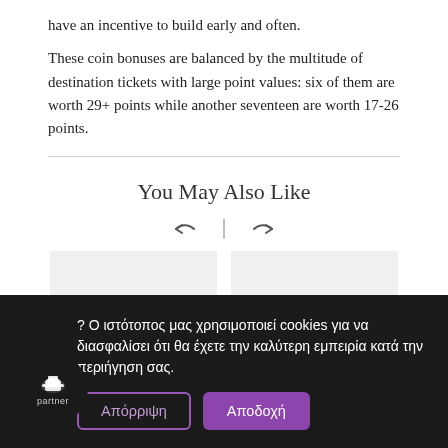have an incentive to build early and often.
These coin bonuses are balanced by the multitude of destination tickets with large point values: six of them are worth 29+ points while another seventeen are worth 17-26 points.
You May Also Like
[Figure (other): Navigation arrows (back and forward) with a vertical separator, above two grey card placeholder boxes]
? Ο ιστότοπος μας χρησιμοποιεί cookies για να διασφαλίσει ότι θα έχετε την καλύτερη εμπειρία κατά την περιήγηση σας.